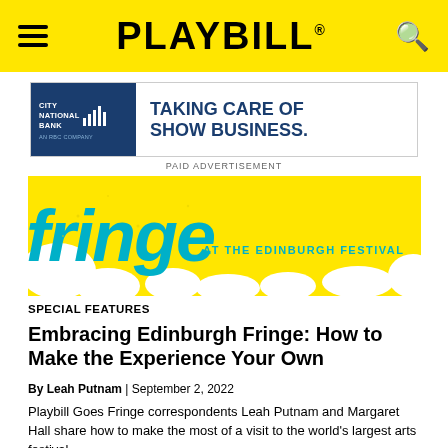PLAYBILL
[Figure (screenshot): City National Bank advertisement: blue left panel with bank name and logo, white right panel with text TAKING CARE OF SHOW BUSINESS. in dark blue bold.]
PAID ADVERTISEMENT
[Figure (illustration): Fringe at the Edinburgh Festival logo: large blue graffiti-style text 'fringe' on a yellow splash background with teal text 'AT THE EDINBURGH FESTIVAL']
SPECIAL FEATURES
Embracing Edinburgh Fringe: How to Make the Experience Your Own
By Leah Putnam | September 2, 2022
Playbill Goes Fringe correspondents Leah Putnam and Margaret Hall share how to make the most of a visit to the world's largest arts festival.